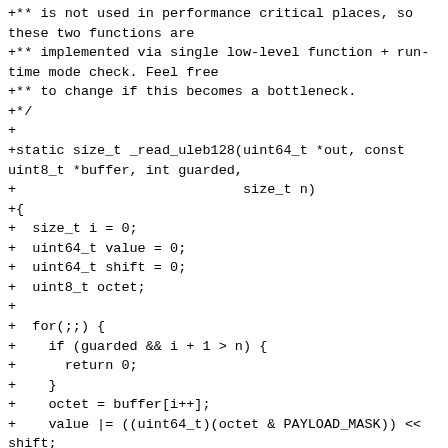+** is not used in performance critical places, so these two functions are
+** implemented via single low-level function + run-time mode check. Feel free
+** to change if this becomes a bottleneck.
+*/
+
+static size_t _read_uleb128(uint64_t *out, const uint8_t *buffer, int guarded,
+                            size_t n)
+{
+  size_t i = 0;
+  uint64_t value = 0;
+  uint64_t shift = 0;
+  uint8_t octet;
+
+  for(;;) {
+    if (guarded && i + 1 > n) {
+      return 0;
+    }
+    octet = buffer[i++];
+    value |= ((uint64_t)(octet & PAYLOAD_MASK)) << shift;
+    shift += SHIFT_STEP;
+    if (!(octet & LINK_BIT)) {
+      break;
+    }
+  }
+
+  *out = value;